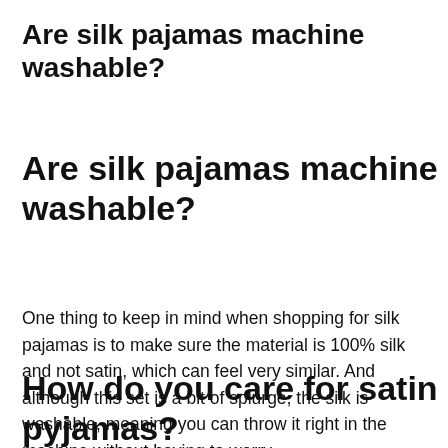Are silk pajamas machine washable?
Are silk pajamas machine washable?
One thing to keep in mind when shopping for silk pajamas is to make sure the material is 100% silk and not satin, which can feel very similar. And although this set is a bit of splurge, the silk is washable, meaning you can throw it right in the machine without having to worry.
How do you care for satin pyjamas?